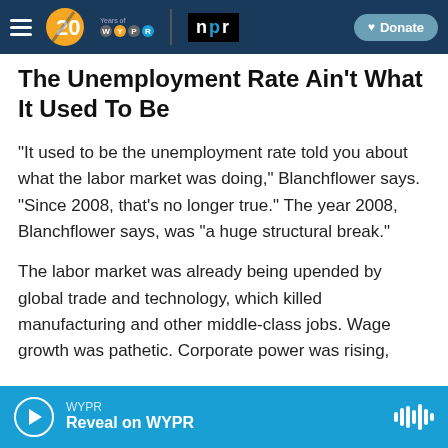WYPR 20 Years of WYPR | NPR | Donate
The Unemployment Rate Ain't What It Used To Be
"It used to be the unemployment rate told you about what the labor market was doing," Blanchflower says. "Since 2008, that's no longer true." The year 2008, Blanchflower says, was "a huge structural break."
The labor market was already being upended by global trade and technology, which killed manufacturing and other middle-class jobs. Wage growth was pathetic. Corporate power was rising,
WYPR | Reveal on WYPR